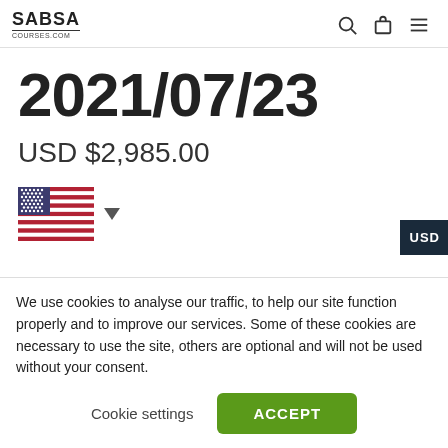SABSA courses.com
2021/07/23
USD $2,985.00
[Figure (illustration): US flag with dropdown arrow indicator]
USD
+
We use cookies to analyse our traffic, to help our site function properly and to improve our services. Some of these cookies are necessary to use the site, others are optional and will not be used without your consent.
Cookie settings
ACCEPT